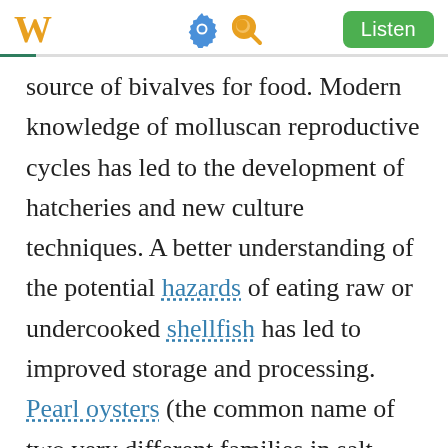W [gear icon] [search icon] Listen
source of bivalves for food. Modern knowledge of molluscan reproductive cycles has led to the development of hatcheries and new culture techniques. A better understanding of the potential hazards of eating raw or undercooked shellfish has led to improved storage and processing. Pearl oysters (the common name of two very different families in salt water and fresh water) are the most